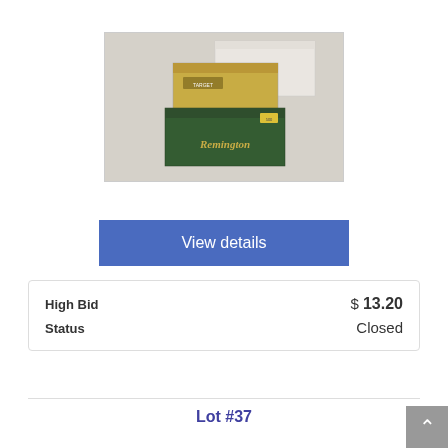[Figure (photo): Photo of Remington ammunition boxes stacked on a white cloth surface — green Remington box on bottom, yellow box on top, white box behind.]
View details
| High Bid | $ 13.20 |
| Status | Closed |
Lot #37